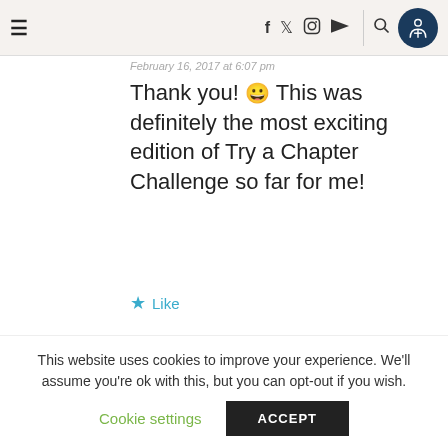≡  f  🐦  📷  ▶  🔍  [accessibility icon]
February 16, 2017 at 6:07 pm
Thank you! 😀 This was definitely the most exciting edition of Try a Chapter Challenge so far for me!
⭐ Like
READINGAFTERTEN
February 19, 2019 at 4:45 am
I always see this in booktube, and
This website uses cookies to improve your experience. We'll assume you're ok with this, but you can opt-out if you wish.
Cookie settings
ACCEPT